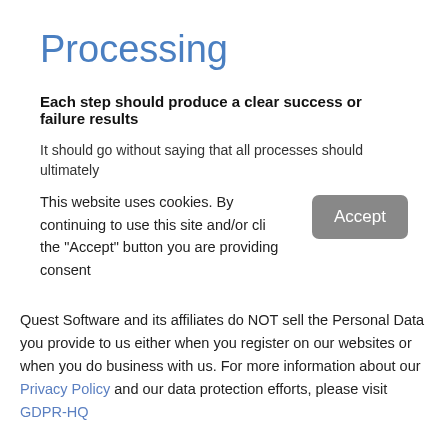Processing
Each step should produce a clear success or failure results
It should go without saying that all processes should ultimately
This website uses cookies. By continuing to use this site and/or cli... the "Accept" button you are providing consent
Quest Software and its affiliates do NOT sell the Personal Data you provide to us either when you register on our websites or when you do business with us. For more information about our Privacy Policy and our data protection efforts, please visit GDPR-HQ